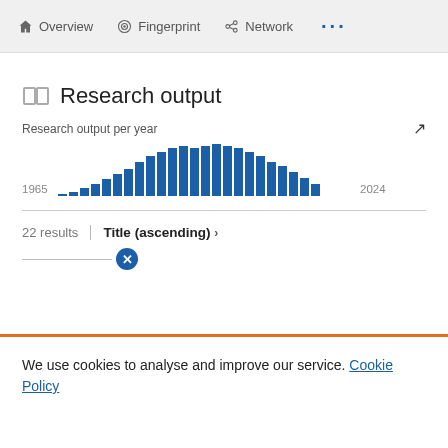Overview   Fingerprint   Network   ...
Research output
Research output per year
[Figure (bar-chart): Research output per year]
22 results   Title (ascending) >
We use cookies to analyse and improve our service. Cookie Policy